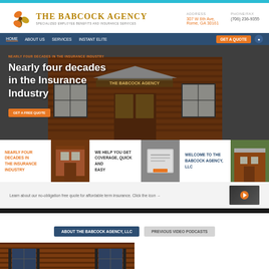[Figure (screenshot): Website screenshot of The Babcock Agency homepage with teal top bar]
The Babcock Agency - Specialized Employee Benefits and Insurance Services
ADDRESS: 307 W 6th Ave, Rome, GA 30161
PHONE/FAX: (706) 236-9355
HOME | ABOUT US | SERVICES | INSTANT ELITE
Nearly four decades in the Insurance Industry
GET A FREE QUOTE
NEARLY FOUR DECADES IN THE INSURANCE INDUSTRY
WE HELP YOU GET COVERAGE, QUICK AND EASY
WELCOME TO THE BABCOCK AGENCY, LLC
Learn about our no-obligation free quote for affordable term insurance. Click the icon →
ABOUT THE BABCOCK AGENCY, LLC
PREVIOUS VIDEO PODCASTS